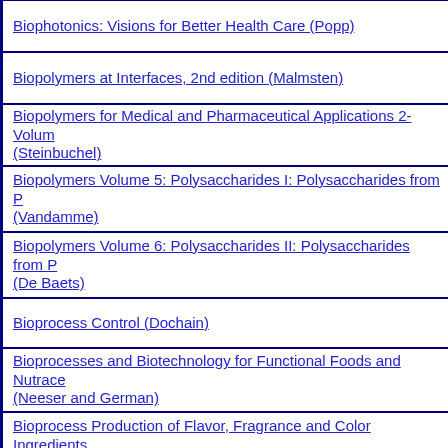Biophotonics: Visions for Better Health Care (Popp)
Biopolymers at Interfaces, 2nd edition (Malmsten)
Biopolymers for Medical and Pharmaceutical Applications 2-Volume (Steinbuchel)
Biopolymers Volume 5: Polysaccharides I: Polysaccharides from P (Vandamme)
Biopolymers Volume 6: Polysaccharides II: Polysaccharides from P (De Baets)
Bioprocess Control (Dochain)
Bioprocesses and Biotechnology for Functional Foods and Nutrace (Neeser and German)
Bioprocess Production of Flavor, Fragrance and Color Ingredients
Biopsy Interpretation of the Bladder, 2nd edition (Epstein)
Biopsy Interpretation of the Breast (Schnitt)
Biopsy Interpretation of the Liver, 2nd edition (Geller)
Biopsy Interpretation of the Prostate, 4th edition (Epstein)